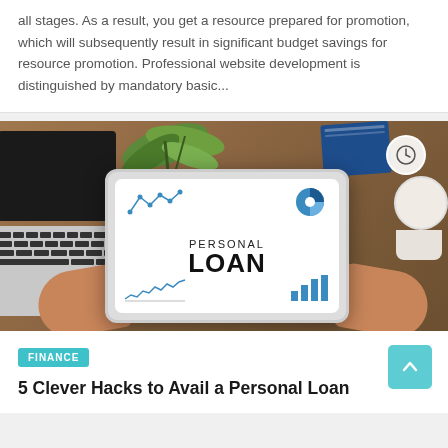all stages. As a result, you get a resource prepared for promotion, which will subsequently result in significant budget savings for resource promotion. Professional website development is distinguished by mandatory basic...
[Figure (photo): Photo of two hands holding a tablet displaying 'PERSONAL LOAN' text with financial charts, laptop and coffee cup on wooden desk background]
FINANCE
5 Clever Hacks to Avail a Personal Loan